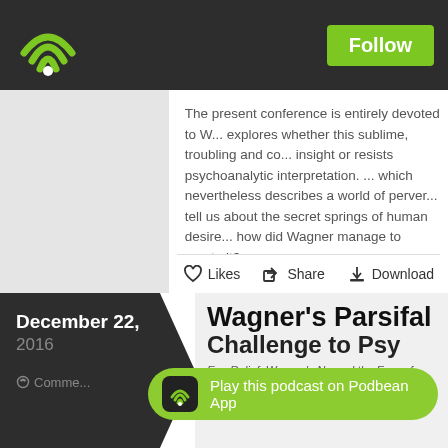Podbean — Follow
The present conference is entirely devoted to W... explores whether this sublime, troubling and co... insight or resists psychoanalytic interpretation. ... which nevertheless describes a world of perver... tell us about the secret springs of human desire... how did Wagner manage to create it?
Likes  Share  Download
Wagner's Parsifal — Challenge to Psy...
December 22, 2016
Comments
Play this podcast on Podbean App